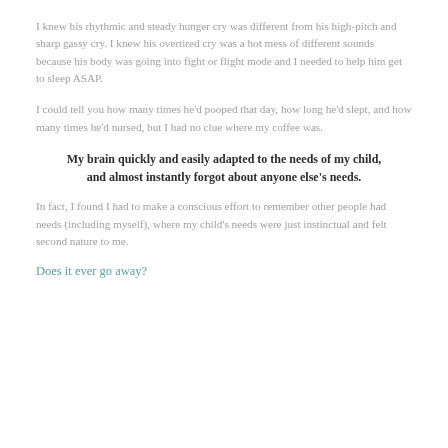I knew his rhythmic and steady hunger cry was different from his high-pitch and sharp gassy cry. I knew his overtired cry was a hot mess of different sounds because his body was going into fight or flight mode and I needed to help him get to sleep ASAP.
I could tell you how many times he'd pooped that day, how long he'd slept, and how many times he'd nursed, but I had no clue where my coffee was.
My brain quickly and easily adapted to the needs of my child, and almost instantly forgot about anyone else's needs.
In fact, I found I had to make a conscious effort to remember other people had needs (including myself), where my child's needs were just instinctual and felt second nature to me.
Does it ever go away?